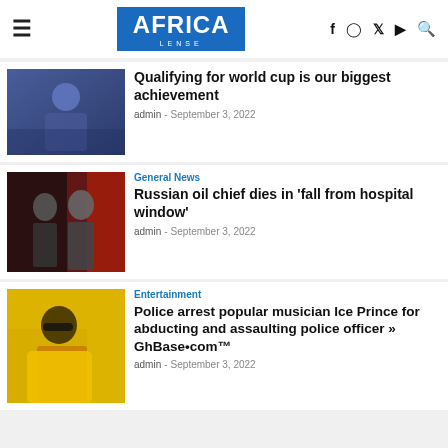AFRICA LENSE
Qualifying for world cup is our biggest achievement
admin - September 3, 2022
General News
Russian oil chief dies in 'fall from hospital window'
admin - September 3, 2022
Entertainment
Police arrest popular musician Ice Prince for abducting and assaulting police officer » GhBase•com™
admin - September 3, 2022
- Advertisement -